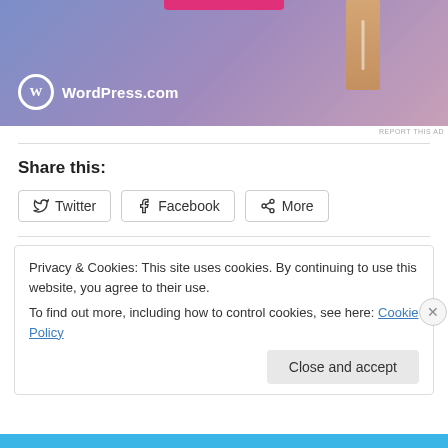[Figure (illustration): WordPress.com advertisement banner with blue-purple gradient background, a door graphic, pink bar at top, and WordPress.com logo with text]
REPORT THIS AD
Share this:
Twitter
Facebook
More
Privacy & Cookies: This site uses cookies. By continuing to use this website, you agree to their use.
To find out more, including how to control cookies, see here: Cookie Policy
Close and accept